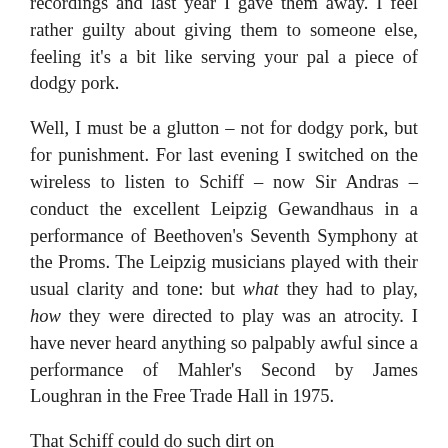recordings and last year I gave them away. I feel rather guilty about giving them to someone else, feeling it's a bit like serving your pal a piece of dodgy pork.
Well, I must be a glutton – not for dodgy pork, but for punishment. For last evening I switched on the wireless to listen to Schiff – now Sir Andras – conduct the excellent Leipzig Gewandhaus in a performance of Beethoven's Seventh Symphony at the Proms. The Leipzig musicians played with their usual clarity and tone: but what they had to play, how they were directed to play was an atrocity. I have never heard anything so palpably awful since a performance of Mahler's Second by James Loughran in the Free Trade Hall in 1975.
That Schiff could do such dirt on